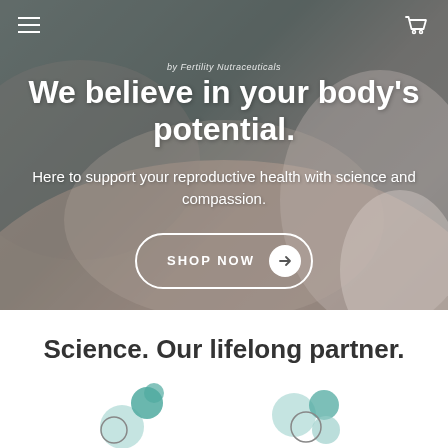by Fertility Nutraceuticals
We believe in your body's potential.
Here to support your reproductive health with science and compassion.
SHOP NOW
Science. Our lifelong partner.
[Figure (illustration): Two teal/mint bubble cluster icons representing scientific or cellular imagery, displayed side by side at the bottom of the page.]